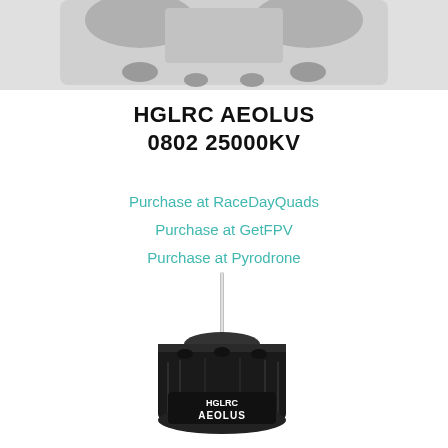[Figure (photo): Top portion of a drone or RC aircraft component, gray/dark colored, shown from top down, cropped view]
HGLRC AEOLUS
0802 25000KV
Purchase at RaceDayQuads
Purchase at GetFPV
Purchase at Pyrodrone
[Figure (photo): HGLRC Aeolus 0802 motor in black color, shown from top angle with motor shaft visible, HGLRC Aeolus branding on the motor body]